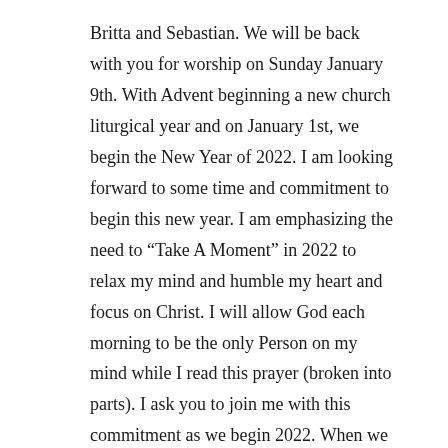Britta and Sebastian. We will be back with you for worship on Sunday January 9th. With Advent beginning a new church liturgical year and on January 1st, we begin the New Year of 2022. I am looking forward to some time and commitment to begin this new year. I am emphasizing the need to “Take A Moment” in 2022 to relax my mind and humble my heart and focus on Christ. I will allow God each morning to be the only Person on my mind while I read this prayer (broken into parts). I ask you to join me with this commitment as we begin 2022. When we give the time it takes to read articles, jokes, stories, emails, and Facebook etc.,